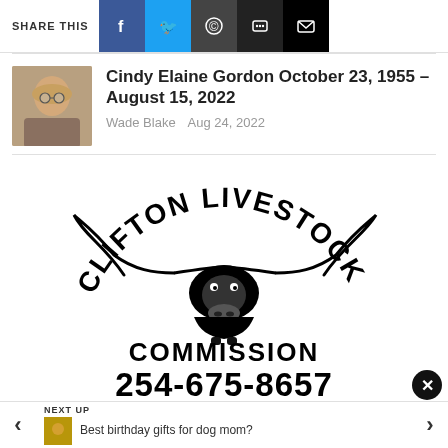SHARE THIS
[Figure (photo): Headshot of Cindy Elaine Gordon, a woman with blonde hair and glasses]
Cindy Elaine Gordon October 23, 1955 – August 15, 2022
Wade Blake   Aug 24, 2022
[Figure (logo): Clifton Livestock Commission logo with longhorn steer illustration, phone number 254-675-8657 and website www.CliftonLivestock.com]
NEXT UP
Best birthday gifts for dog mom?